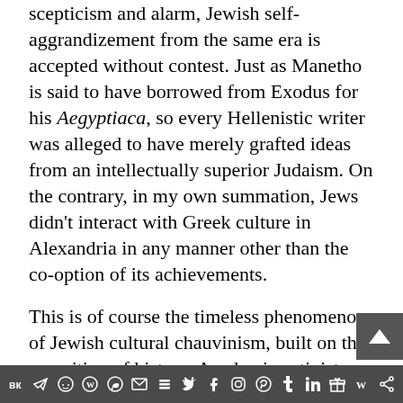scepticism and alarm, Jewish self-aggrandizement from the same era is accepted without contest. Just as Manetho is said to have borrowed from Exodus for his Aegyptiaca, so every Hellenistic writer was alleged to have merely grafted ideas from an intellectually superior Judaism. On the contrary, in my own summation, Jews didn't interact with Greek culture in Alexandria in any manner other than the co-option of its achievements.

This is of course the timeless phenomenon of Jewish cultural chauvinism, built on the re-writing of history. Academic activist Simon Schama writes that, in Alexandria, many Jewish writers and philosophers argued that Judaism
VK Telegram Reddit WordPress WhatsApp Email Buffer Twitter Facebook Instagram Pinterest Tumblr LinkedIn Gift Wattpad Share